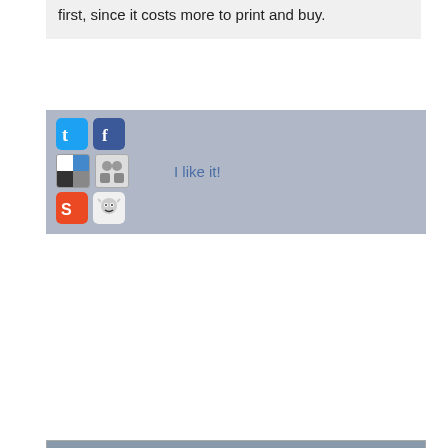first, since it costs more to print and buy.
[Figure (screenshot): Social sharing icons bar with Twitter, Facebook, color-picker, contacts, StumbleUpon, Reddit icons and 'I like it!' link]
(idea) by knar Mon Apr 16 2001 at 10:51:11
Most people buy paperback books because they don't want to pay twice or more for a hardcover edition. But I'll tell you something: once I went to my grandparents' home in the country and I found some shelves full of books, all of them at least thirty years old and some